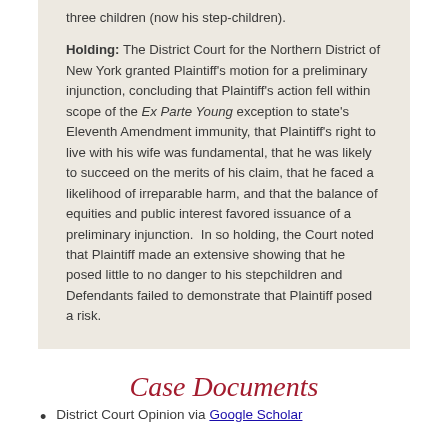three children (now his step-children).
Holding: The District Court for the Northern District of New York granted Plaintiff's motion for a preliminary injunction, concluding that Plaintiff's action fell within scope of the Ex Parte Young exception to state's Eleventh Amendment immunity, that Plaintiff's right to live with his wife was fundamental, that he was likely to succeed on the merits of his claim, that he faced a likelihood of irreparable harm, and that the balance of equities and public interest favored issuance of a preliminary injunction.  In so holding, the Court noted that Plaintiff made an extensive showing that he posed little to no danger to his stepchildren and Defendants failed to demonstrate that Plaintiff posed a risk.
Case Documents
District Court Opinion via Google Scholar